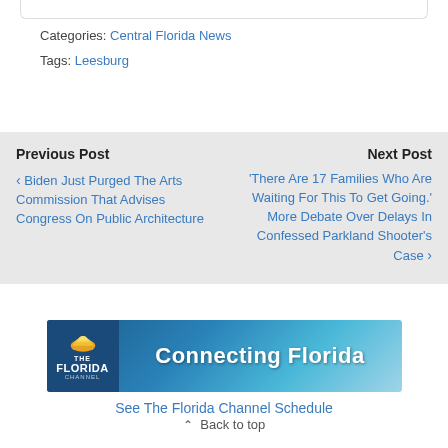Categories: Central Florida News
Tags: Leesburg
Previous Post  Biden Just Purged The Arts Commission That Advises Congress On Public Architecture
Next Post  'There Are 17 Families Who Are Waiting For This To Get Going.' More Debate Over Delays In Confessed Parkland Shooter's Case
[Figure (screenshot): The Florida Channel banner ad — dark blue background with sun logo and text 'Connecting Florida']
See The Florida Channel Schedule
Back to top